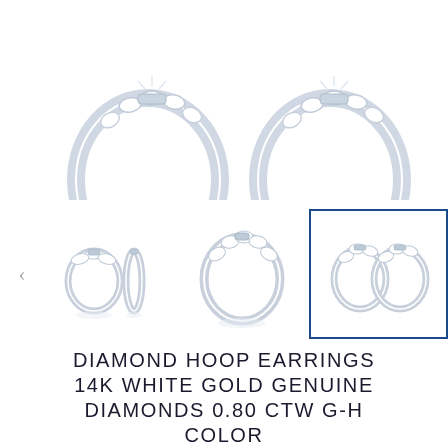[Figure (photo): Two large diamond hoop earrings shown side by side from a top/front angle, displaying sparkly diamonds set in white gold, shown partially cropped at top of page.]
[Figure (photo): Three thumbnail views of diamond hoop earrings: first shows a pair from front and side angle, second shows a single large hoop earring front view, third (selected, highlighted with blue border) shows a pair of hoop earrings together front view.]
DIAMOND HOOP EARRINGS 14K WHITE GOLD GENUINE DIAMONDS 0.80 CTW G-H COLOR
$600.00